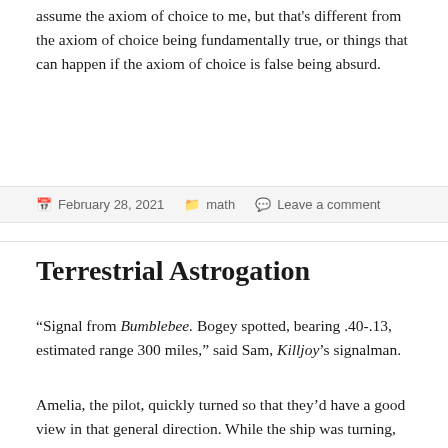assume the axiom of choice to me, but that's different from the axiom of choice being fundamentally true, or things that can happen if the axiom of choice is false being absurd.
February 28, 2021   math   Leave a comment
Terrestrial Astrogation
“Signal from Bumblebee. Bogey spotted, bearing .40-.13, estimated range 300 miles,” said Sam, Killjoy’s signalman.
Amelia, the pilot, quickly turned so that they’d have a good view in that general direction. While the ship was turning, Nate, the navigator, worked out exactly which direction to expect to see the bogey. Once the